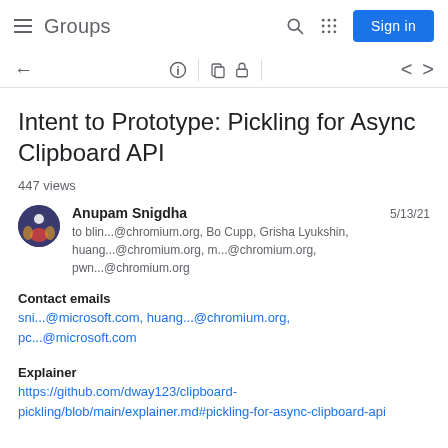Groups — Sign in
Intent to Prototype: Pickling for Async Clipboard API
447 views
Anupam Snigdha — 5/13/21 — to blin...@chromium.org, Bo Cupp, Grisha Lyukshin, huang...@chromium.org, m...@chromium.org, pwn...@chromium.org
Contact emails
sni...@microsoft.com, huang...@chromium.org, pc...@microsoft.com
Explainer
https://github.com/dway123/clipboard-pickling/blob/main/explainer.md#pickling-for-async-clipboard-api